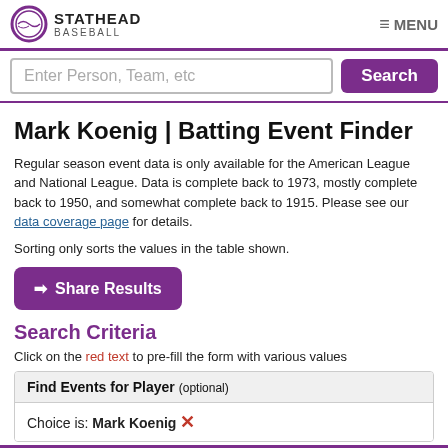STATHEAD BASEBALL | MENU
Enter Person, Team, etc | Search
Mark Koenig | Batting Event Finder
Regular season event data is only available for the American League and National League. Data is complete back to 1973, mostly complete back to 1950, and somewhat complete back to 1915. Please see our data coverage page for details.
Sorting only sorts the values in the table shown.
→ Share Results
Search Criteria
Click on the red text to pre-fill the form with various values
| Find Events for Player (optional) |
| --- |
| Choice is: Mark Koenig ✕ |